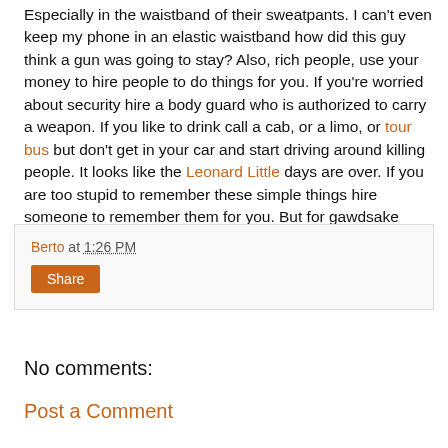Especially in the waistband of their sweatpants. I can't even keep my phone in an elastic waistband how did this guy think a gun was going to stay? Also, rich people, use your money to hire people to do things for you. If you're worried about security hire a body guard who is authorized to carry a weapon. If you like to drink call a cab, or a limo, or tour bus but don't get in your car and start driving around killing people. It looks like the Leonard Little days are over. If you are too stupid to remember these simple things hire someone to remember them for you. But for gawdsake stop doing this stupid shit.
Berto at 1:26 PM
Share
No comments:
Post a Comment